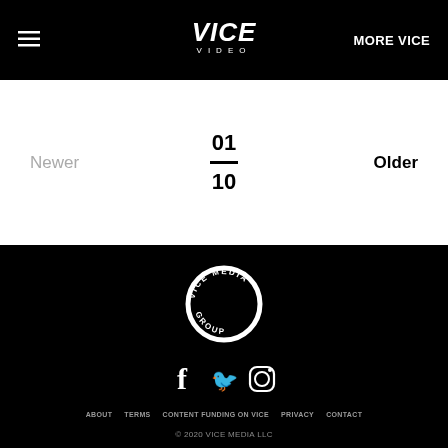≡  VICE VIDEO  MORE VICE
Newer
01 / 10
Older
[Figure (logo): Vice Media Group circular logo in white on black background]
[Figure (illustration): Social media icons: Facebook, Twitter, Instagram]
ABOUT  TERMS  CONTENT FUNDING ON VICE  PRIVACY  CONTACT
© 2020 VICE MEDIA LLC